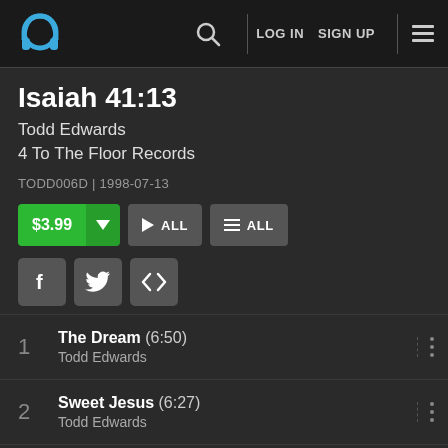LOG IN  SIGN UP
Isaiah 41:13
Todd Edwards
4 To The Floor Records
TODD006D | 1998-07-13
$3.99  ▾  ▶ ALL  ≡ ALL
1  The Dream (6:50)  Todd Edwards
2  Sweet Jesus (6:27)  Todd Edwards
3  Sunrise Sunshine (7:28)  Todd Edwards